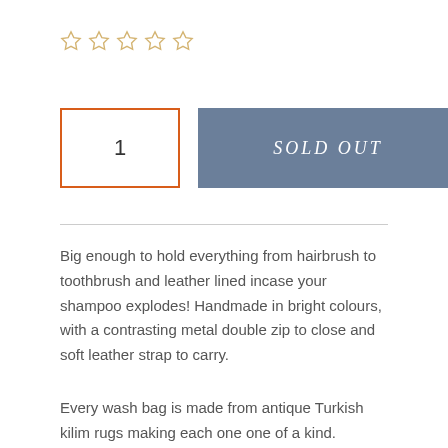[Figure (other): Five empty star rating icons in gold/yellow outline]
[Figure (other): Quantity input box showing '1' with orange border, and a 'SOLD OUT' button in slate blue]
Big enough to hold everything from hairbrush to toothbrush and leather lined incase your shampoo explodes! Handmade in bright colours, with a contrasting metal double zip to close and soft leather strap to carry.
Every wash bag is made from antique Turkish kilim rugs making each one one of a kind.